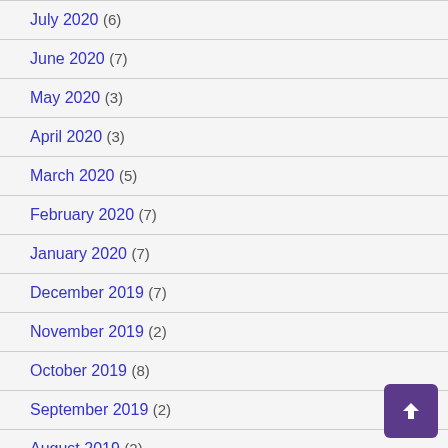July 2020 (6)
June 2020 (7)
May 2020 (3)
April 2020 (3)
March 2020 (5)
February 2020 (7)
January 2020 (7)
December 2019 (7)
November 2019 (2)
October 2019 (8)
September 2019 (2)
August 2019 (2)